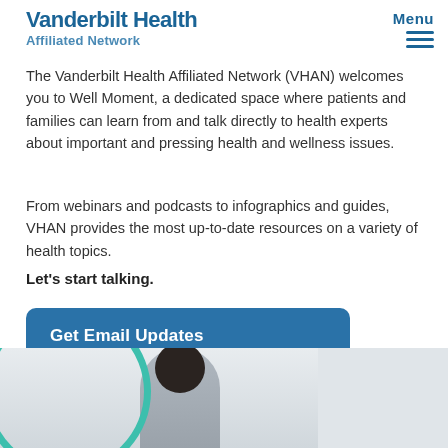Vanderbilt Health Affiliated Network
Menu
The Vanderbilt Health Affiliated Network (VHAN) welcomes you to Well Moment, a dedicated space where patients and families can learn from and talk directly to health experts about important and pressing health and wellness issues.
From webinars and podcasts to infographics and guides, VHAN provides the most up-to-date resources on a variety of health topics.
Let's start talking.
[Figure (other): Blue rounded-rectangle button labeled 'Get Email Updates']
[Figure (photo): Partial photo at bottom of page showing a person, with a teal circle graphic overlay on the left side]